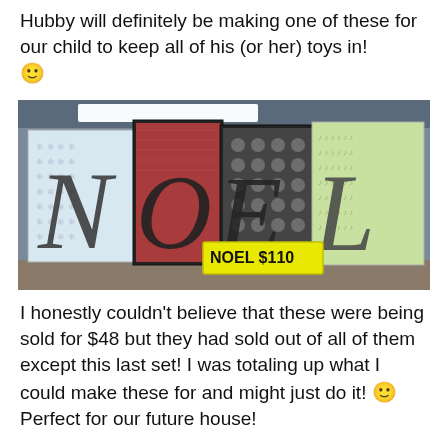Hubby will definitely be making one of these for our child to keep all of his (or her) toys in! 🙂
[Figure (photo): Photo of decorative NOEL letter blocks on a shelf. Each letter is on a separate decorated block with different patterned paper backgrounds. A yellow price tag reads 'NOEL $110'.]
I honestly couldn't believe that these were being sold for $48 but they had sold out of all of them except this last set! I was totaling up what I could make these for and might just do it! 🙂 Perfect for our future house!